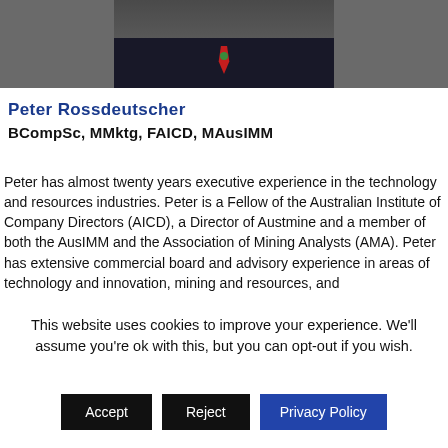[Figure (photo): Partial photo of Peter Rossdeutscher in a dark suit with red tie, cropped at the top of the page]
Peter Rossdeutscher
BCompSc, MMktg, FAICD, MAusIMM
Peter has almost twenty years executive experience in the technology and resources industries. Peter is a Fellow of the Australian Institute of Company Directors (AICD), a Director of Austmine and a member of both the AusIMM and the Association of Mining Analysts (AMA). Peter has extensive commercial board and advisory experience in areas of technology and innovation, mining and resources, and
This website uses cookies to improve your experience. We'll assume you're ok with this, but you can opt-out if you wish.
Accept   Reject   Privacy Policy